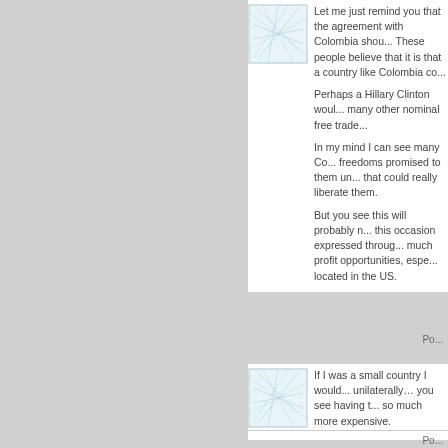[Figure (illustration): User avatar icon with light blue geometric/web pattern on white background]
Let me just remind you that the agreement with Colombia shou... These people believe that it is that a country like Colombia co...
Perhaps a Hillary Clinton woul... many other nominal free trade...
In my mind I can see many Co... freedoms promised to them un... that could really liberate them.
But you see this will probably n... this occasion expressed throug... much profit opportunities, espe... located in the US.
Po...
[Figure (illustration): User avatar icon with light blue geometric/web pattern on white background]
If I was a small country I would... unilaterally… you see having t... so much more expensive.
Po...